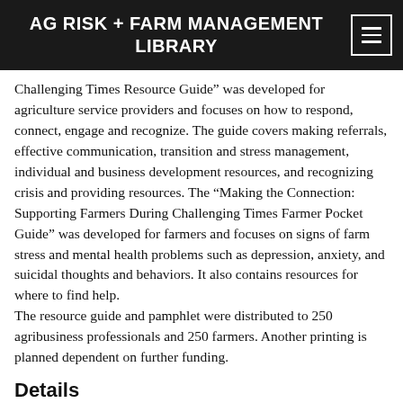AG RISK + FARM MANAGEMENT LIBRARY
Challenging Times Resource Guide” was developed for agriculture service providers and focuses on how to respond, connect, engage and recognize. The guide covers making referrals, effective communication, transition and stress management, individual and business development resources, and recognizing crisis and providing resources. The “Making the Connection: Supporting Farmers During Challenging Times Farmer Pocket Guide” was developed for farmers and focuses on signs of farm stress and mental health problems such as depression, anxiety, and suicidal thoughts and behaviors. It also contains resources for where to find help. The resource guide and pamphlet were distributed to 250 agribusiness professionals and 250 farmers. Another printing is planned dependent on further funding.
Details
| Conference |  |
| --- | --- |
| Conference | 2020 Extension Risk Management Educ |